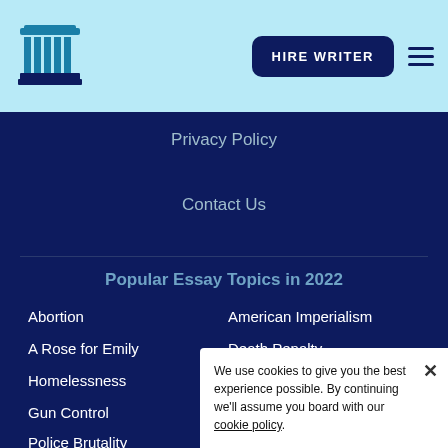[Figure (logo): Pillar/column logo icon in teal and dark blue]
HIRE WRITER
Privacy Policy
Contact Us
Popular Essay Topics in 2022
Abortion
American Imperialism
A Rose for Emily
Death Penalty
Homelessness
Racism
Gun Control
Death Penalty
Police Brutality
Minimum Wage
Civil Rights Movement
Gun Violence
We use cookies to give you the best experience possible. By continuing we'll assume you board with our cookie policy.